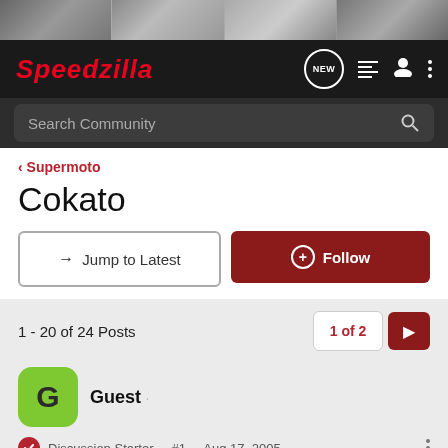[Figure (screenshot): Speedzilla forum website header with motorcycle banner images, navigation bar with logo, search community bar, breadcrumb to Supermoto, thread title Cokato, Jump to Latest and Follow buttons, post count 1-20 of 24 Posts with pagination 1 of 2, and Guest user avatar with Discussion Starter metadata]
Speedzilla
Search Community
< Supermoto
Cokato
→ Jump to Latest
+ Follow
1 - 20 of 24 Posts
1 of 2
Guest ·
Discussion Starter · #1 · Aug 17, 2005